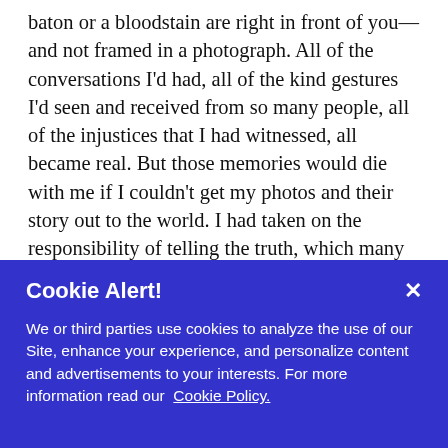baton or a bloodstain are right in front of you—and not framed in a photograph. All of the conversations I'd had, all of the kind gestures I'd seen and received from so many people, all of the injustices that I had witnessed, all became real. But those memories would die with me if I couldn't get my photos and their story out to the world. I had taken on the responsibility of telling the truth, which many locals had thanked me for with free food, drink and taxi rides. The kindness of the people and their love for their city was weak when stood up against the Chinese machine. It was a hard truth that all I could do was document while the CCB closed in on the
Cookie Alert!
We or third parties use cookies to analyze the use of our Site, enhance your experience, and personalize content and advertisements to your interests. For more information read our Cookie Policy.